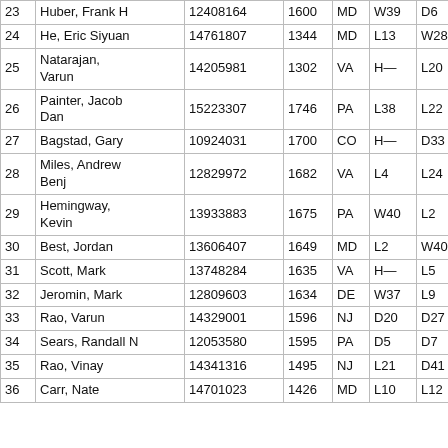| # | Name | ID | Rtng | St | Rd1 | Rd2 | Rd3 | Pts |
| --- | --- | --- | --- | --- | --- | --- | --- | --- |
| 23 | Huber, Frank H | 12408164 | 1600 | MD | W39 | D6 | L5 | 1.5 |
| 24 | He, Eric Siyuan | 14761807 | 1344 | MD | L13 | W28 | D31 | 1.5 |
| 25 | Natarajan, Varun | 14205981 | 1302 | VA | H— | L20 | W41 | 1.5 |
| 26 | Painter, Jacob Dan | 15223307 | 1746 | PA | L38 | L22 | W43 | 1.0 |
| 27 | Bagstad, Gary | 10924031 | 1700 | CO | H— | D33 | L16 | 1.0 |
| 28 | Miles, Andrew Benj | 12829972 | 1682 | VA | L4 | L24 | W42 | 1.0 |
| 29 | Hemingway, Kevin | 13933883 | 1675 | PA | W40 | L2 | L17 | 1.0 |
| 30 | Best, Jordan | 13606407 | 1649 | MD | L2 | W40 | L7 | 1.0 |
| 31 | Scott, Mark | 13748284 | 1635 | VA | H— | L5 | D24 | 1.0 |
| 32 | Jeromin, Mark | 12809603 | 1634 | DE | W37 | L9 | L10 | 1.0 |
| 33 | Rao, Varun | 14329001 | 1596 | NJ | D20 | D27 | L12 | 1.0 |
| 34 | Sears, Randall N | 12053580 | 1595 | PA | D5 | D7 | L11 | 1.0 |
| 35 | Rao, Vinay | 14341316 | 1495 | NJ | L21 | D41 | D40 | 1.0 |
| 36 | Carr, Nate | 14701023 | 1426 | MD | L10 | L12 | B— | 1.0 |